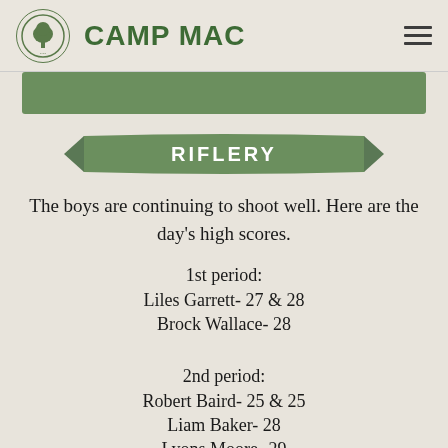CAMP MAC
RIFLERY
The boys are continuing to shoot well. Here are the day's high scores.
1st period:
Liles Garrett- 27 & 28
Brock Wallace- 28
2nd period:
Robert Baird- 25 & 25
Liam Baker- 28
Lyons Moore- 29